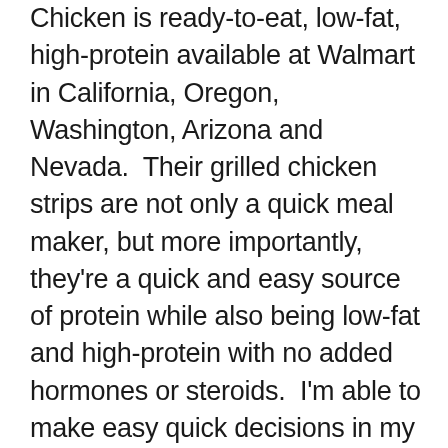Chicken is ready-to-eat, low-fat, high-protein available at Walmart in California, Oregon, Washington, Arizona and Nevada.  Their grilled chicken strips are not only a quick meal maker, but more importantly, they're a quick and easy source of protein while also being low-fat and high-protein with no added hormones or steroids.  I'm able to make easy quick decisions in my recipes while also making good decisions for my family!